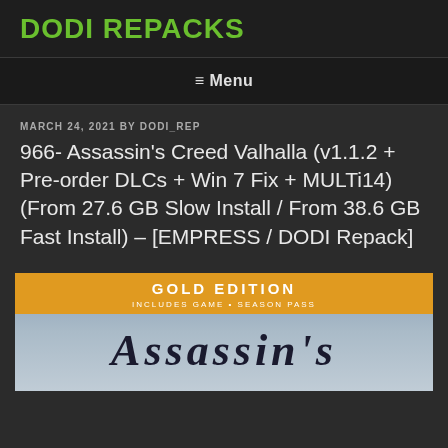DODI REPACKS
≡ Menu
MARCH 24, 2021 BY DODI_REP
966- Assassin's Creed Valhalla (v1.1.2 + Pre-order DLCs + Win 7 Fix + MULTi14) (From 27.6 GB Slow Install / From 38.6 GB Fast Install) – [EMPRESS / DODI Repack]
[Figure (illustration): Assassin's Creed Valhalla Gold Edition game cover image with orange banner reading 'GOLD EDITION - INCLUDES GAME + SEASON PASS' and 'ASSASSIN'S' text below in dark italic serif font against a grey-blue sky background]